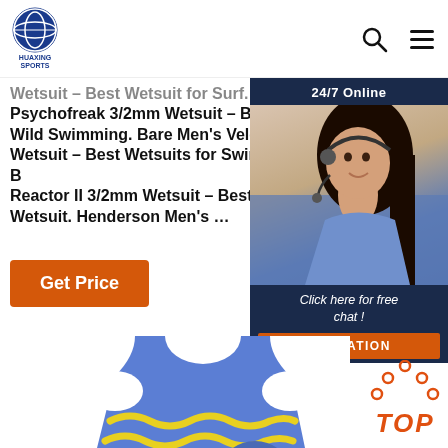[Figure (logo): Huaxing Sports logo - circular emblem with blue globe/person graphic and text 'HUAXING SPORTS' below]
Wetsuit – Best Wetsuit for Surf. O'Neill Men's Psychofreak 3/2mm Wetsuit – Best Wetsuit for Wild Swimming. Bare Men's Velocity 5mm Wetsuit – Best Wetsuits for Swimming. O'Neill Boys Reactor II 3/2mm Wetsuit – Best Entry Wetsuit. Henderson Men's …
Get Price
[Figure (photo): Chat widget with female customer service agent wearing headset, labeled '24/7 Online' at top, 'Click here for free chat!' and 'QUOTATION' button at bottom]
[Figure (photo): Blue children's swimsuit/swim vest with yellow wavy lines and stars pattern, cartoon fish design]
[Figure (other): Top/back-to-top button with red dots arranged in triangle and 'TOP' text in red italic]